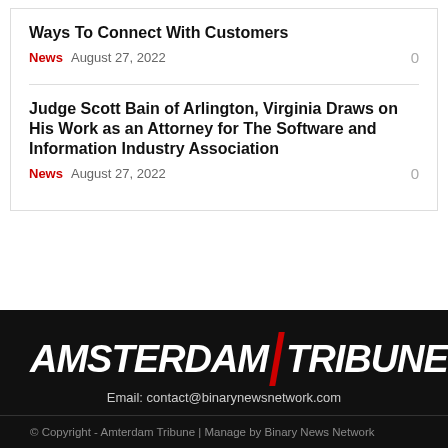Ways To Connect With Customers
News  August 27, 2022  0
Judge Scott Bain of Arlington, Virginia Draws on His Work as an Attorney for The Software and Information Industry Association
News  August 27, 2022  0
[Figure (logo): Amsterdam Tribune logo with red separator bar on black background]
Email: contact@binarynewsnetwork.com
© Copyright - Amterdam Tribune | Manage by Binary News Network